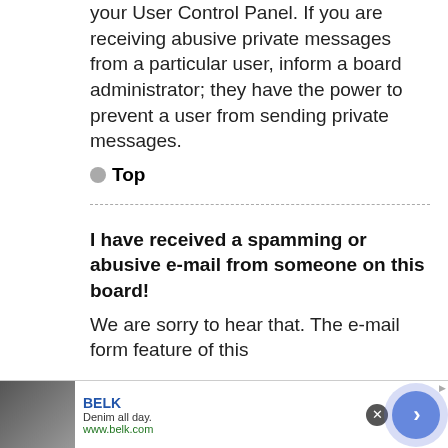your User Control Panel. If you are receiving abusive private messages from a particular user, inform a board administrator; they have the power to prevent a user from sending private messages.
Top
I have received a spamming or abusive e-mail from someone on this board!
We are sorry to hear that. The e-mail form feature of this
[Figure (infographic): Advertisement banner for BELK - Denim all day. www.belk.com with a close button and arrow button.]